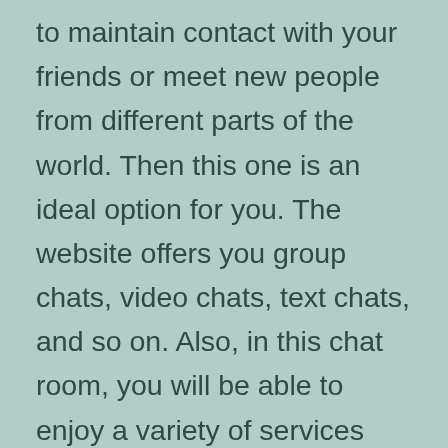to maintain contact with your friends or meet new people from different parts of the world. Then this one is an ideal option for you. The website offers you group chats, video chats, text chats, and so on. Also, in this chat room, you will be able to enjoy a variety of services that only enhances the user experience of yours. As well as, you will be getting a bunch of filter options.◆
On the site, you will also be able to create fully customized profiles. Also, you will find different dating functions that increase the possibility of finding someone special. Plus, you will be able